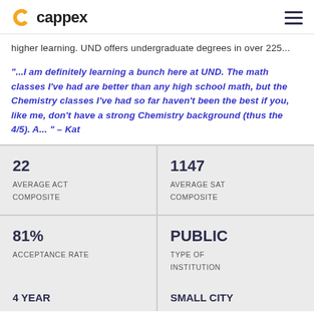cappex
higher learning. UND offers undergraduate degrees in over 225...
“...I am definitely learning a bunch here at UND. The math classes I've had are better than any high school math, but the Chemistry classes I've had so far haven’t been the best if you, like me, don’t have a strong Chemistry background (thus the 4/5). A... ” – Kat
| 22
AVERAGE ACT
COMPOSITE | 1147
AVERAGE SAT
COMPOSITE |
| 81%
ACCEPTANCE RATE | PUBLIC
TYPE OF
INSTITUTION |
| 4 YEAR | SMALL CITY |